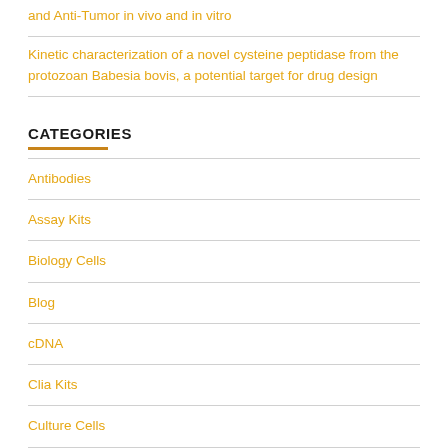and Anti-Tumor in vivo and in vitro
Kinetic characterization of a novel cysteine peptidase from the protozoan Babesia bovis, a potential target for drug design
CATEGORIES
Antibodies
Assay Kits
Biology Cells
Blog
cDNA
Clia Kits
Culture Cells